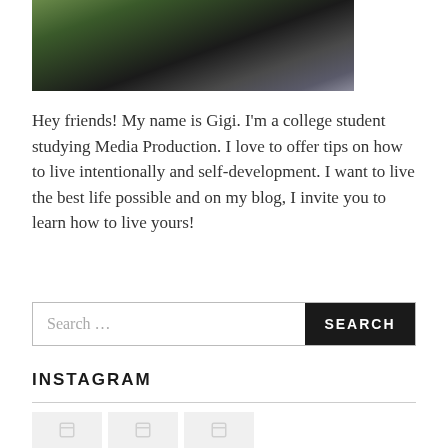[Figure (photo): Outdoor selfie photo of a person wearing a denim jacket and black top with a necklace, with green trees in the background]
Hey friends! My name is Gigi. I'm a college student studying Media Production. I love to offer tips on how to live intentionally and self-development. I want to live the best life possible and on my blog, I invite you to learn how to live yours!
Search …
INSTAGRAM